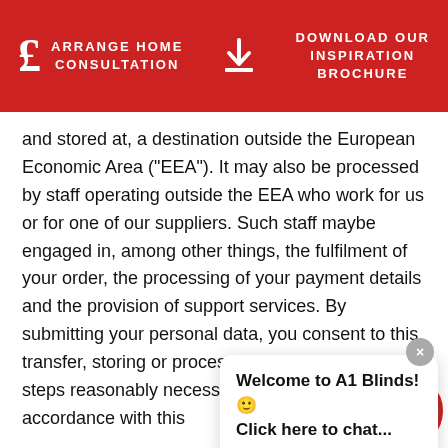ARRANGE HOME CONSULTATION | DOWNLOAD OUR INSPIRATION BROCHURE
and stored at, a destination outside the European Economic Area ("EEA"). It may also be processed by staff operating outside the EEA who work for us or for one of our suppliers. Such staff maybe engaged in, among other things, the fulfilment of your order, the processing of your payment details and the provision of support services. By submitting your personal data, you consent to this transfer, storing or processing. We will take all steps reasonably necessary to ensure tha[t your data is treated securely and] in accordance with this [policy].
All information you prov[ide is stored on our secure] servers. Any payment transactions will be encrypted u[sing] SSL technology. Where we have given you (or wher[e you] have chosen) a password which enables you to access
[Figure (other): Chat popup overlay with close button (×), bold text 'Welcome to A1 Blinds! 🙂 Click here to chat...', and a circular avatar photo of a woman with a green online indicator dot.]